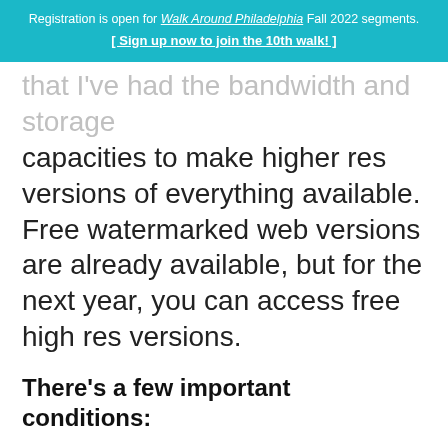Registration is open for Walk Around Philadelphia Fall 2022 segments. [ Sign up now to join the 10th walk! ]
that I've had the bandwidth and storage capacities to make higher res versions of everything available. Free watermarked web versions are already available, but for the next year, you can access free high res versions.
There's a few important conditions:
You can download images of yourselves and your loved ones, or subjects that you care about.